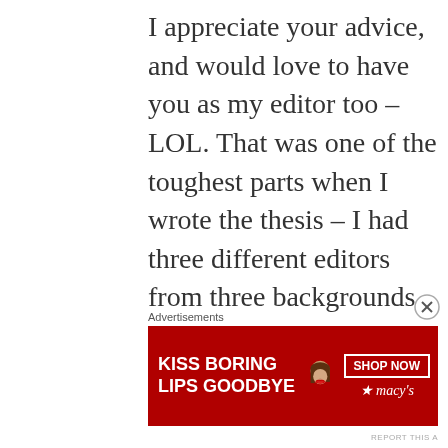I appreciate your advice, and would love to have you as my editor too – LOL. That was one of the toughest parts when I wrote the thesis – I had three different editors from three backgrounds, but they gave good advice and I was happy with the final result.
Advertisements
[Figure (other): Advertisement banner for Macy's lipstick: red background with white bold text 'KISS BORING LIPS GOODBYE', image of woman's lips, 'SHOP NOW' button, and Macy's star logo]